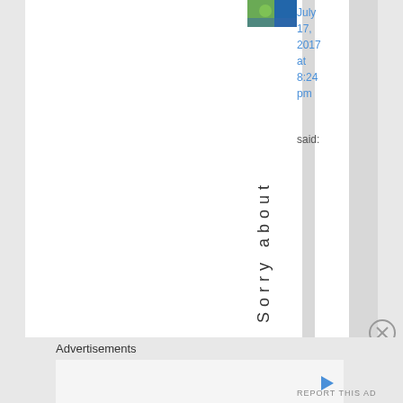[Figure (photo): Small thumbnail photo of a person or outdoor scene in green and blue tones]
July 17, 2017 at 8:24 pm
said:
Sorry about
Advertisements
[Figure (other): Advertisement box with play button icon]
REPORT THIS AD